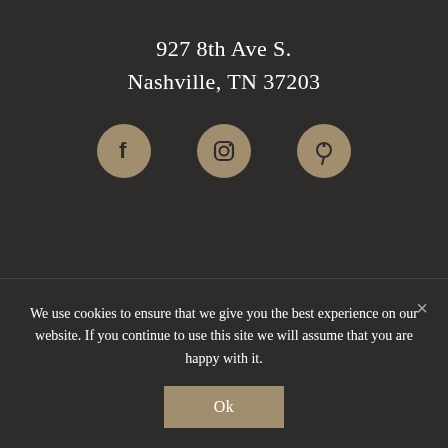927 8th Ave S.
Nashville, TN 37203
[Figure (illustration): Three social media icon circles (Facebook, Instagram, Pinterest) in tan/gold color on dark background]
Drop on by!
Monday through Friday 9:30 – 5:00
We use cookies to ensure that we give you the best experience on our website. If you continue to use this site we will assume that you are happy with it.
Ok